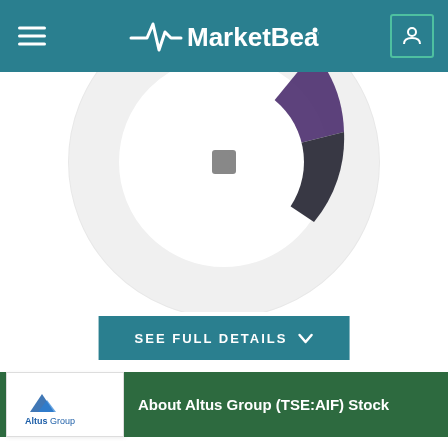MarketBeat
[Figure (donut-chart): Partially visible donut/pie chart with dark purple and grey segments, showing a gauge or analyst rating chart for Altus Group stock.]
SEE FULL DETAILS
About Altus Group (TSE:AIF) Stock
Altus Group Limited provides software, data solutions, and independent advisory services to the commercial real estate industry in Canada, the United States, Europe, and the Asia Pacific. It operates through Altus Analytics and Commercial Real Estate Consulting (CRE Consulting).